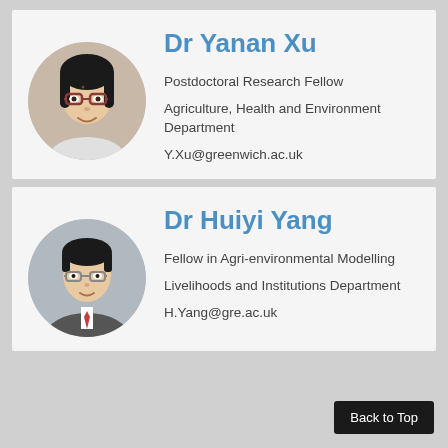[Figure (photo): Circular portrait photo of Dr Yanan Xu, a woman with glasses]
Dr Yanan Xu
Postdoctoral Research Fellow
Agriculture, Health and Environment Department
Y.Xu@greenwich.ac.uk
[Figure (photo): Circular portrait photo of Dr Huiyi Yang, a man in a suit with glasses]
Dr Huiyi Yang
Fellow in Agri-environmental Modelling
Livelihoods and Institutions Department
H.Yang@gre.ac.uk
Back to Top